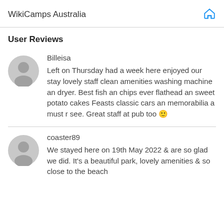WikiCamps Australia
User Reviews
Billeisa
Left on Thursday had a week here enjoyed our stay lovely staff clean amenities washing machine an dryer. Best fish an chips ever flathead an sweet potato cakes Feasts classic cars an memorabilia a must r see. Great staff at pub too 🙂
coaster89
We stayed here on 19th May 2022 & are so glad we did. It's a beautiful park, lovely amenities & so close to the beach